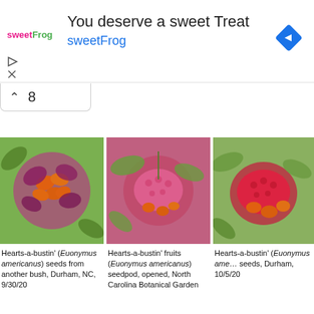[Figure (infographic): SweetFrog advertisement banner with logo, text 'You deserve a sweet Treat', brand name 'sweetFrog', and navigation diamond icon]
[Figure (photo): Hearts-a-bustin' (Euonymus americanus) seeds from another bush, Durham, NC, 9/30/20 - close-up of pink-purple pods with orange seeds]
Hearts-a-bustin' (Euonymus americanus) seeds from another bush, Durham, NC, 9/30/20
[Figure (photo): Hearts-a-bustin' fruits (Euonymus americanus) seedpod, opened, North Carolina Botanical Garden]
Hearts-a-bustin' fruits (Euonymus americanus) seedpod, opened, North Carolina Botanical Garden
[Figure (photo): Hearts-a-bustin' (Euonymus americanus) seeds, Durham, 10/5/20 - partially visible]
Hearts-a-bustin' (Euonymus americanus) seeds, Durham, 10/5/20